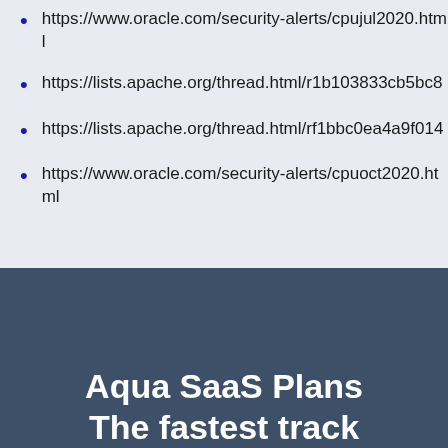https://www.oracle.com/security-alerts/cpujul2020.html
https://lists.apache.org/thread.html/r1b103833cb5bc8
https://lists.apache.org/thread.html/rf1bbc0ea4a9f014
https://www.oracle.com/security-alerts/cpuoct2020.html
Aqua SaaS Plans
The fastest track